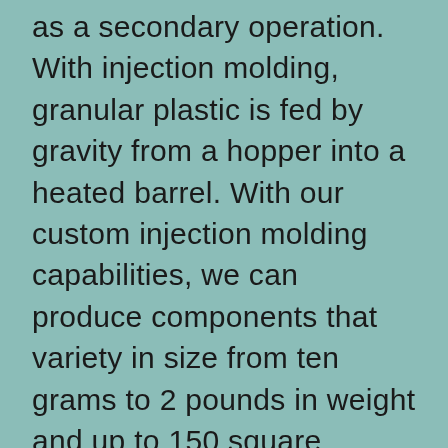as a secondary operation. With injection molding, granular plastic is fed by gravity from a hopper into a heated barrel. With our custom injection molding capabilities, we can produce components that variety in size from ten grams to 2 pounds in weight and up to 150 square inches in surface region. Testing molds in a virtual simulation environment cuts across communication barriers and permits designers, moldmakers, and manufacturing specialists to collaborate much more effectively and efficiently, while eliminating the need to have for pricey prototype and mold cycles. There are many types of molding processes, such as